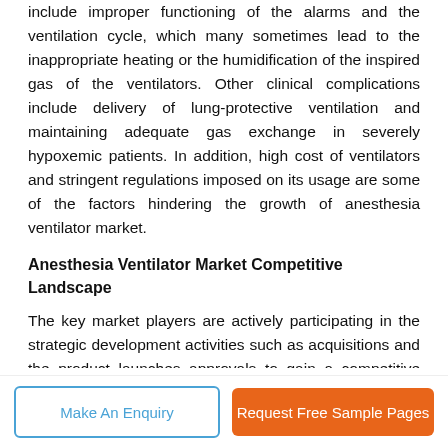include improper functioning of the alarms and the ventilation cycle, which many sometimes lead to the inappropriate heating or the humidification of the inspired gas of the ventilators. Other clinical complications include delivery of lung-protective ventilation and maintaining adequate gas exchange in severely hypoxemic patients. In addition, high cost of ventilators and stringent regulations imposed on its usage are some of the factors hindering the growth of anesthesia ventilator market.
Anesthesia Ventilator Market Competitive Landscape
The key market players are actively participating in the strategic development activities such as acquisitions and the product launches approvals to gain a competitive edge in the anesthesia ventilator market. For instance, in August, 2019, Hill-Rom Holdings Inc. acquired Breathe Technologies, a renowned manufacturer of...
Make An Enquiry | Request Free Sample Pages